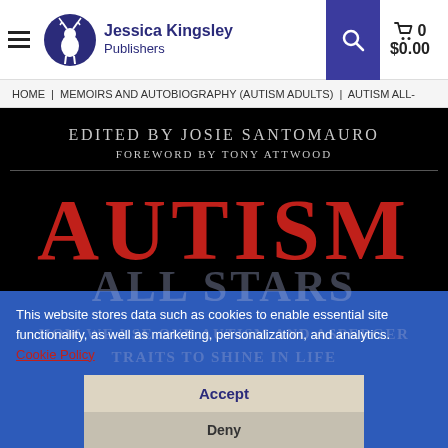Jessica Kingsley Publishers — Cart: 0 $0.00
HOME | MEMOIRS AND AUTOBIOGRAPHY (AUTISM ADULTS) | AUTISM ALL-
[Figure (photo): Book cover: 'Autism All Stars' edited by Josie Santomauro, Foreword by Tony Attwood. Black background with large red AUTISM text and subtitle HOW WE USE OUR AUTISM AND ASPERGER TRAITS TO SHINE IN LIFE.]
This website stores data such as cookies to enable essential site functionality, as well as marketing, personalization, and analytics. Cookie Policy
Accept
Deny